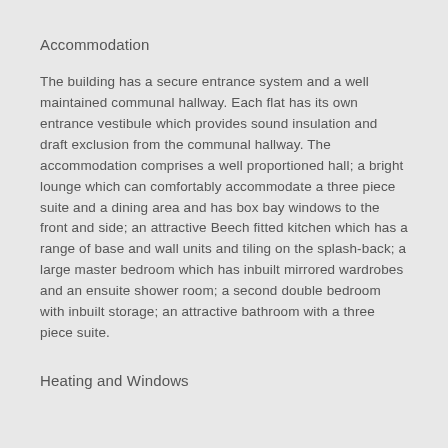Accommodation
The building has a secure entrance system and a well maintained communal hallway. Each flat has its own entrance vestibule which provides sound insulation and draft exclusion from the communal hallway. The accommodation comprises a well proportioned hall; a bright lounge which can comfortably accommodate a three piece suite and a dining area and has box bay windows to the front and side; an attractive Beech fitted kitchen which has a range of base and wall units and tiling on the splash-back; a large master bedroom which has inbuilt mirrored wardrobes and an ensuite shower room; a second double bedroom with inbuilt storage; an attractive bathroom with a three piece suite.
Heating and Windows